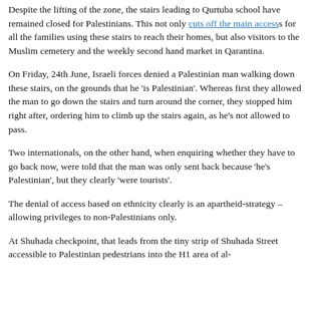Despite the lifting of the zone, the stairs leading to Qurtuba school have remained closed for Palestinians. This not only cuts off the main access for all the families using these stairs to reach their homes, but also visitors to the Muslim cemetery and the weekly second hand market in Qarantina.
On Friday, 24th June, Israeli forces denied a Palestinian man walking down these stairs, on the grounds that he 'is Palestinian'. Whereas first they allowed the man to go down the stairs and turn around the corner, they stopped him right after, ordering him to climb up the stairs again, as he's not allowed to pass.
Two internationals, on the other hand, when enquiring whether they have to go back now, were told that the man was only sent back because 'he's Palestinian', but they clearly 'were tourists'.
The denial of access based on ethnicity clearly is an apartheid-strategy – allowing privileges to non-Palestinians only.
At Shuhada checkpoint, that leads from the tiny strip of Shuhada Street accessible to Palestinian pedestrians into the H1 area of al-